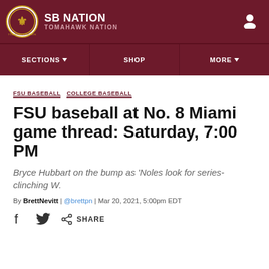SB NATION / TOMAHAWK NATION
SECTIONS | SHOP | MORE
FSU BASEBALL  COLLEGE BASEBALL
FSU baseball at No. 8 Miami game thread: Saturday, 7:00 PM
Bryce Hubbart on the bump as 'Noles look for series-clinching W.
By BrettNevitt | @brettpn | Mar 20, 2021, 5:00pm EDT
SHARE